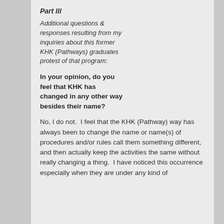Part III
Additional questions & responses resulting from my inquiries about this former KHK (Pathways) graduates protest of that program:
In your opinion, do you feel that KHK has changed in any other way besides their name?
No, I do not.  I feel that the KHK (Pathway) way has always been to change the name or name(s) of procedures and/or rules call them something different, and then actually keep the activities the same without really changing a thing.  I have noticed this occurrence especially when they are under any kind of